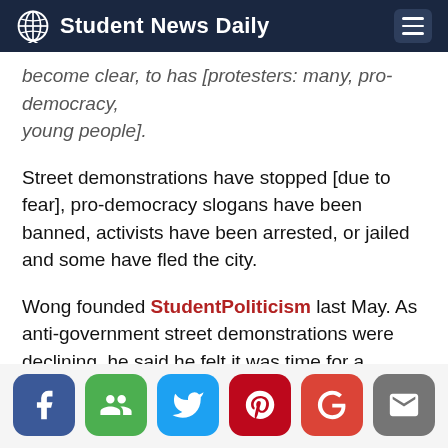Student News Daily
become clear, to has [protesters: many, pro-democracy, young people].
Street demonstrations have stopped [due to fear], pro-democracy slogans have been banned, activists have been arrested, or jailed and some have fled the city.
Wong founded StudentPoliticism last May. As anti-government street demonstrations were declining, he said he felt it was time for a change.
“I actually realized the old method of demonstrations — taking our demands to the street — is not working anymore because the political